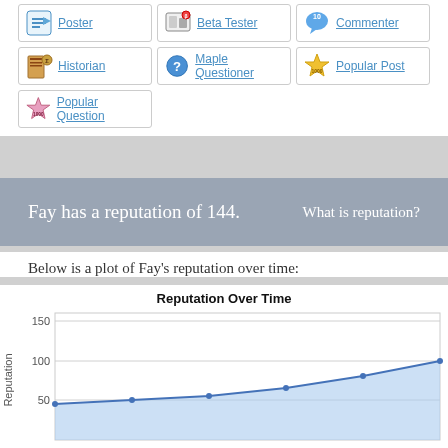[Figure (infographic): Badge icons grid: Poster, Beta Tester, Commenter badges in first row; Historian, Maple Questioner, Popular Post in second row; Popular Question in third row]
Fay has a reputation of 144.
What is reputation?
Below is a plot of Fay's reputation over time:
[Figure (area-chart): Area chart showing Fay's reputation over time, starting around 45, gradually increasing to about 80, then sharply rising to ~100 at the end]